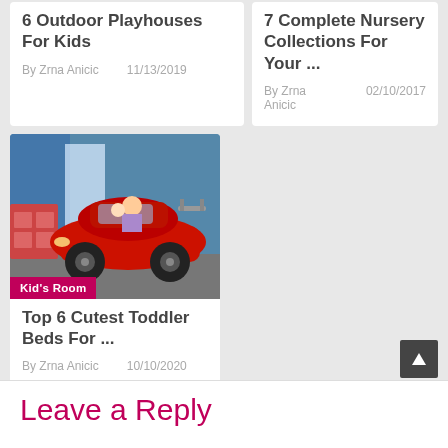6 Outdoor Playhouses For Kids
By Zrna Anicic    11/13/2019
7 Complete Nursery Collections For Your ...
By Zrna Anicic    02/10/2017
[Figure (photo): Photo of a red Corvette-style toddler car bed with a man and child sitting in it, in a blue-walled bedroom. Category badge reads 'Kid's Room'.]
Top 6 Cutest Toddler Beds For ...
By Zrna Anicic    10/10/2020
Leave a Reply